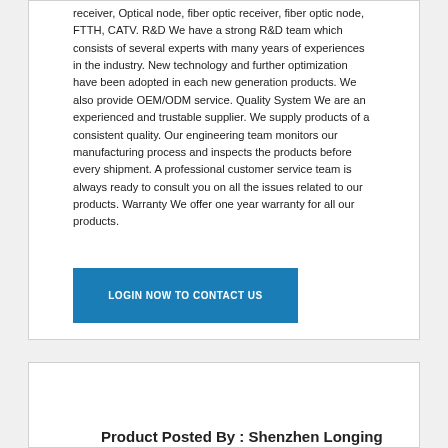receiver, Optical node, fiber optic receiver, fiber optic node, FTTH, CATV. R&D We have a strong R&D team which consists of several experts with many years of experiences in the industry. New technology and further optimization have been adopted in each new generation products. We also provide OEM/ODM service. Quality System We are an experienced and trustable supplier. We supply products of a consistent quality. Our engineering team monitors our manufacturing process and inspects the products before every shipment. A professional customer service team is always ready to consult you on all the issues related to our products. Warranty We offer one year warranty for all our products.
LOGIN NOW TO CONTACT US
Product Posted By : Shenzhen Longing